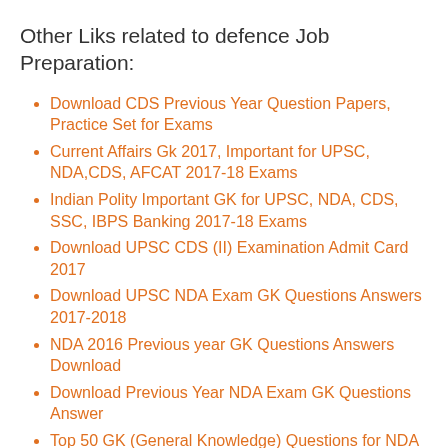Other Liks related to defence Job Preparation:
Download CDS Previous Year Question Papers, Practice Set for Exams
Current Affairs Gk 2017, Important for UPSC, NDA,CDS, AFCAT 2017-18 Exams
Indian Polity Important GK for UPSC, NDA, CDS, SSC, IBPS Banking 2017-18 Exams
Download UPSC CDS (II) Examination Admit Card 2017
Download UPSC NDA Exam GK Questions Answers 2017-2018
NDA 2016 Previous year GK Questions Answers Download
Download Previous Year NDA Exam GK Questions Answer
Top 50 GK (General Knowledge) Questions for NDA Exam 2017
Top 50 Most Important History GK for NDA Exam 2018